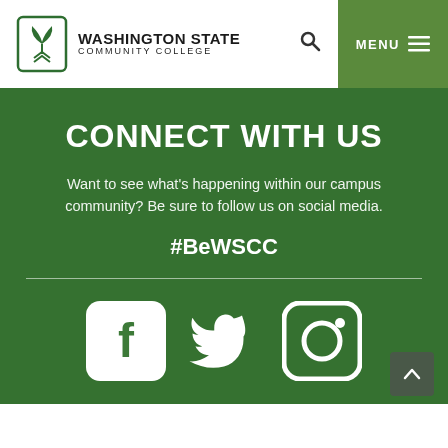[Figure (logo): Washington State Community College logo with icon and text]
CONNECT WITH US
Want to see what's happening within our campus community? Be sure to follow us on social media.
#BeWSCC
[Figure (infographic): Social media icons: Facebook, Twitter, Instagram]